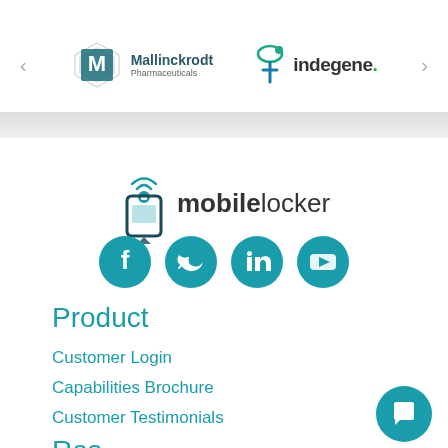[Figure (logo): Mallinckrodt Pharmaceuticals logo with stylized M icon]
[Figure (logo): Indegene logo with green/teal i icon]
[Figure (logo): mobilelocker logo with phone/lock icon]
[Figure (infographic): Four teal circular social media icons: Facebook, Twitter, LinkedIn, YouTube]
Product
Customer Login
Capabilities Brochure
Customer Testimonials
Resources